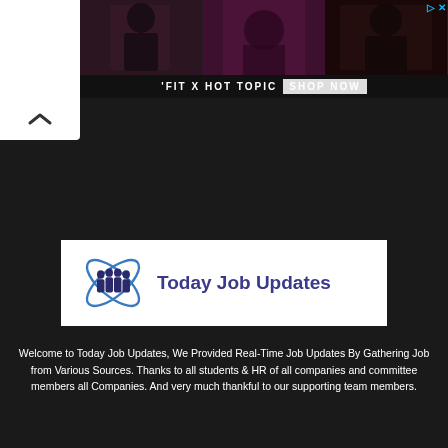[Figure (photo): Advertisement banner: 'FIT X HOT TOPIC SHOP NOW' with three-panel photo collage of people in dark clothing]
[Figure (logo): Today Job Updates logo: group of business people silhouettes with atomic/orbit graphic in blue, and text 'Today Job Updates']
Welcome to Today Job Updates, We Provided Real-Time Job Updates By Gathering Job from Various Sources. Thanks to all students & HR of all companies and committee members all Companies. And very much thankful to our supporting team members.